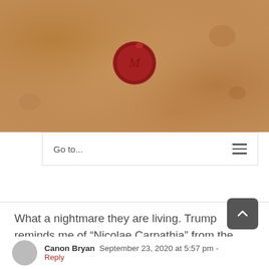[Figure (illustration): Parchment-textured banner header with a red wax seal centered near the top]
Go to...
What a nightmare they are living. Trump reminds me of “Nicolae Carpathia” from the Left Behind series.
My heart goes out to the Taylor family and friends and all of those who can’t sleep for fear of their lives. ????
Canon Bryan  September 23, 2020 at 5:57 pm -
Reply